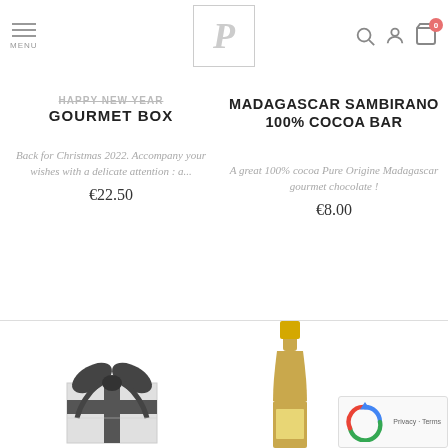MENU | P logo | search, account, cart (0)
GOURMET BOX
Back for Christmas 2022. Accompany your wishes with a delicate attention : a...
€22.50
MADAGASCAR SAMBIRANO 100% COCOA BAR
A great 100% cocoa Pure Origine Madagascar gourmet chocolate !
€8.00
[Figure (photo): Gift box with ribbon and bow, partially visible at bottom left]
[Figure (photo): Champagne or wine bottle neck, partially visible at bottom right]